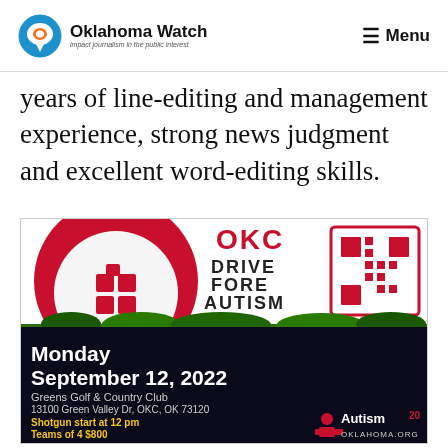Oklahoma Watch — impact journalism in the public interest | Menu
years of line-editing and management experience, strong news judgment and excellent word-editing skills.
[Figure (infographic): OKC Drive Fore Autism golf tournament advertisement. Shows a golf ball with red puzzle pieces, text 'OKC DRIVE FORE AUTISM', QR code with 'SCAN ME', event details: Monday September 12, 2022, Greens Golf & Country Club, 13100 Green Valley Dr, OKC, OK 73120, Shotgun start at 12 pm, Teams of 4 $800, Contact Crystal@AutismOklahoma.org for sponsorship opportunities. Autism Oklahoma.org logo with 20th anniversary mark.]